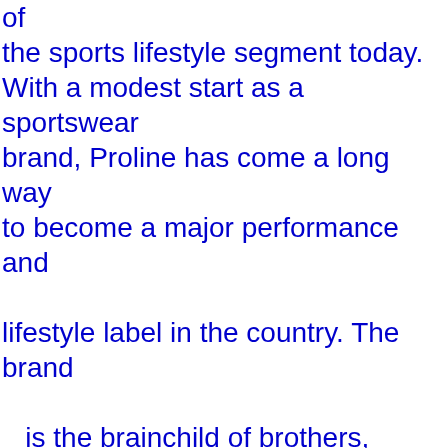of the sports lifestyle segment today. With a modest start as a sportswear brand, Proline has come a long way to become a major performance and lifestyle label in the country. The brand is the brainchild of brothers, Rajesh and 'Rajiv Batra, both avid tennis players and sports enthusiasts. The duo